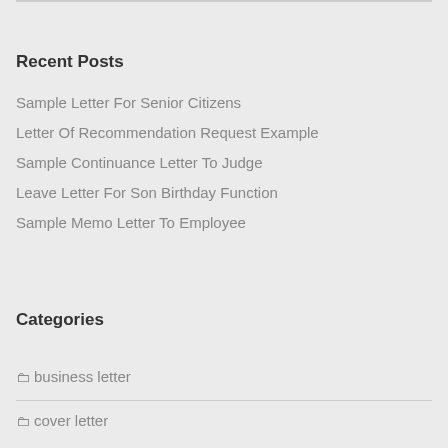Recent Posts
Sample Letter For Senior Citizens
Letter Of Recommendation Request Example
Sample Continuance Letter To Judge
Leave Letter For Son Birthday Function
Sample Memo Letter To Employee
Categories
business letter
cover letter